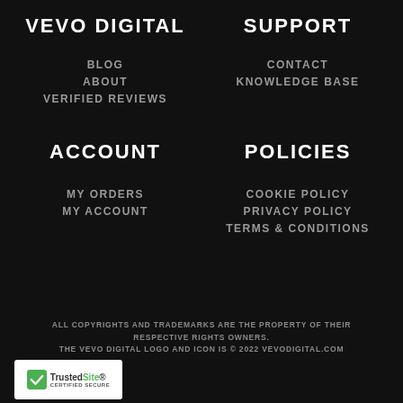VEVO DIGITAL
SUPPORT
BLOG
CONTACT
ABOUT
KNOWLEDGE BASE
VERIFIED REVIEWS
ACCOUNT
POLICIES
MY ORDERS
COOKIE POLICY
MY ACCOUNT
PRIVACY POLICY
TERMS & CONDITIONS
ALL COPYRIGHTS AND TRADEMARKS ARE THE PROPERTY OF THEIR RESPECTIVE RIGHTS OWNERS. THE VEVO DIGITAL LOGO AND ICON IS © 2022 VEVODIGITAL.COM
[Figure (logo): TrustedSite Certified Secure badge with green checkmark]